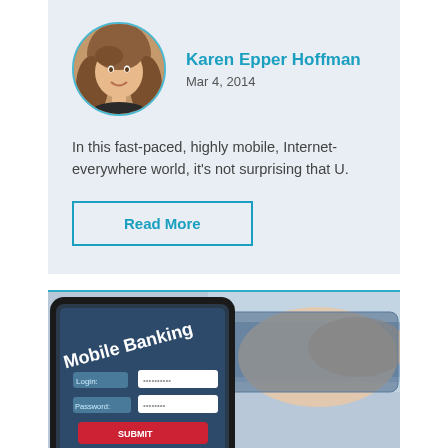[Figure (photo): Circular portrait photo of Karen Epper Hoffman, a woman with long blonde/brown hair, smiling]
Karen Epper Hoffman
Mar 4, 2014
In this fast-paced, highly mobile, Internet-everywhere world, it's not surprising that U.
Read More
[Figure (photo): Photo of a smartphone showing a Mobile Banking login screen with Login and Password fields, and a hand holding a credit card in the background]